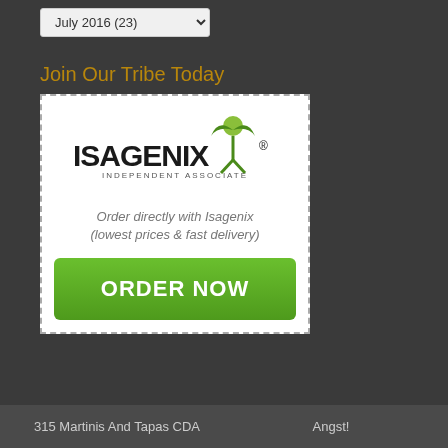July 2016  (23)
Join Our Tribe Today
[Figure (logo): Isagenix Independent Associate logo with green figure icon and ORDER NOW green button, dashed border ad box. Text: 'Order directly with Isagenix (lowest prices & fast delivery)' and 'ORDER NOW' button.]
315 Martinis And Tapas CDA    Angst!